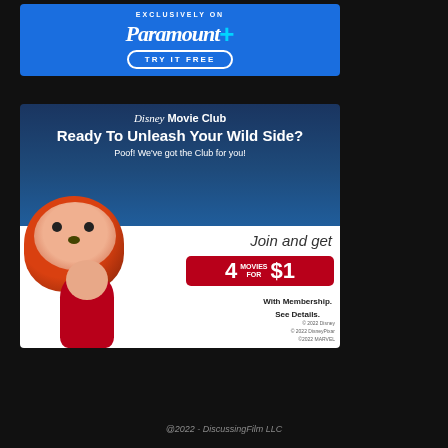[Figure (advertisement): Paramount+ advertisement on blue background. Text reads 'EXCLUSIVELY ON Paramount+ TRY IT FREE']
[Figure (advertisement): Disney Movie Club advertisement featuring a red panda and girl character from Turning Red. Text: 'Ready To Unleash Your Wild Side? Poof! We've got the Club for you! Join and get 4 MOVIES FOR $1 With Membership. See Details. © 2022 Disney © 2022 DisneyPixar ©2022 MARVEL']
@2022 - DiscussingFilm LLC